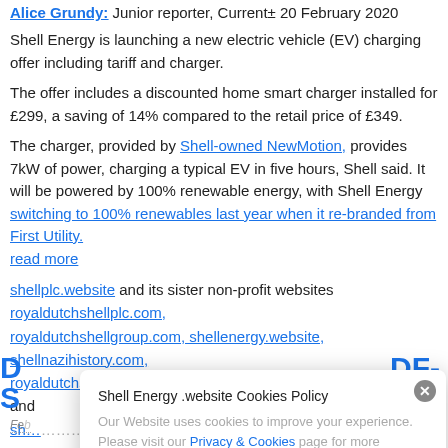Alice Grundy: Junior reporter, Current± 20 February 2020
Shell Energy is launching a new electric vehicle (EV) charging offer including tariff and charger.
The offer includes a discounted home smart charger installed for £299, a saving of 14% compared to the retail price of £349.
The charger, provided by Shell-owned NewMotion, provides 7kW of power, charging a typical EV in five hours, Shell said. It will be powered by 100% renewable energy, with Shell Energy switching to 100% renewables last year when it re-branded from First Utility.
read more
shellplc.website and its sister non-profit websites royaldutchshellplc.com, royaldutchshellgroup.com, shellenergy.website, shellnazihistory.com, royaldutchshell.website, johndonovan.website, shellnews.net and shellinfo...
[Figure (screenshot): Cookie consent modal overlay reading: 'Shell Energy .website Cookies Policy. Our Website uses cookies to improve your experience. Please visit our Privacy & Cookies page for more information about cookies and how we use them.' with a close (×) button.]